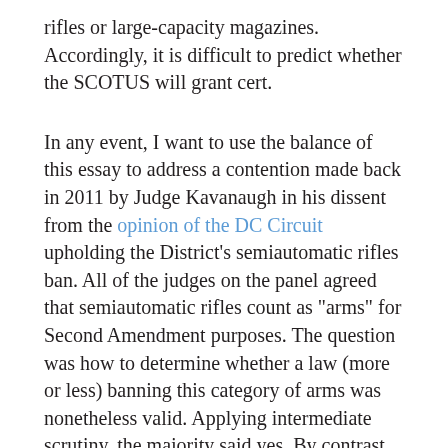rifles or large-capacity magazines. Accordingly, it is difficult to predict whether the SCOTUS will grant cert.
In any event, I want to use the balance of this essay to address a contention made back in 2011 by Judge Kavanaugh in his dissent from the opinion of the DC Circuit upholding the District's semiautomatic rifles ban. All of the judges on the panel agreed that semiautomatic rifles count as "arms" for Second Amendment purposes. The question was how to determine whether a law (more or less) banning this category of arms was nonetheless valid. Applying intermediate scrutiny, the majority said yes. By contrast, Judge Kavanaugh said no, but he gave a different answer to the threshold question of what standard of scrutiny applies. Noting that courts were divided over whether strict or intermediate scrutiny applies to laws infringing the Second